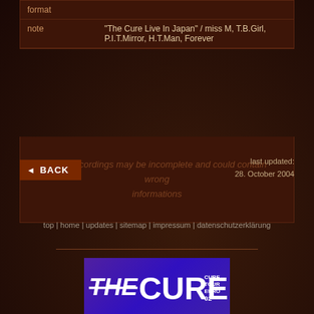|  |  |
| --- | --- |
|  |  |
| note | "The Cure Live In Japan" / miss M, T.B.Girl, P.I.T.Mirror, H.T.Man, Forever |
list of recordings may be incomplete and could contain wrong informations
◄ BACK
last updated:
28. October 2004
top | home | updates | sitemap | impressum | datenschutzerklärung
[Figure (logo): The Cure - Cure Tour Euro 2002 logo on purple background]